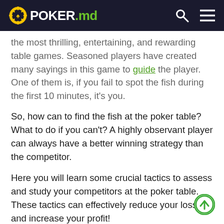POKER.md
the most thrilling, entertaining, and rewarding table games. Seasoned players have created many sayings in this game to guide the player. One of them is, if you fail to spot the fish during the first 10 minutes, it's you.
So, how can to find the fish at the poker table? What to do if you can't? A highly observant player can always have a better winning strategy than the competitor.
Here you will learn some crucial tactics to assess and study your competitors at the poker table. These tactics can effectively reduce your loss and increase your profit!
The Most Effective Way to Study